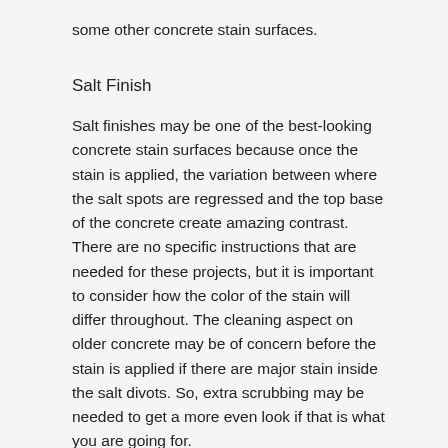some other concrete stain surfaces.
Salt Finish
Salt finishes may be one of the best-looking concrete stain surfaces because once the stain is applied, the variation between where the salt spots are regressed and the top base of the concrete create amazing contrast. There are no specific instructions that are needed for these projects, but it is important to consider how the color of the stain will differ throughout. The cleaning aspect on older concrete may be of concern before the stain is applied if there are major stain inside the salt divots. So, extra scrubbing may be needed to get a more even look if that is what you are going for.